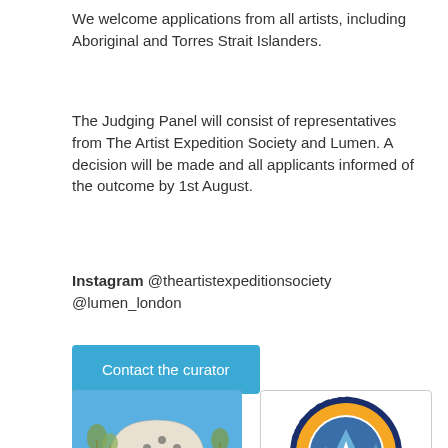We welcome applications from all artists, including Aboriginal and Torres Strait Islanders.
The Judging Panel will consist of representatives from The Artist Expedition Society and Lumen. A decision will be made and all applicants informed of the outcome by 1st August.
Instagram @theartistexpeditionsociety @lumen_london
[Figure (other): Blue button with text 'Contact the curator']
[Figure (photo): Photo of a white geodesic dome structure in a dry outback landscape with trees and blue sky]
[Figure (logo): Circular badge logo reading 'THE ARTIST EXPEDITION SOCIETY' with a mountain illustration in blue and orange]